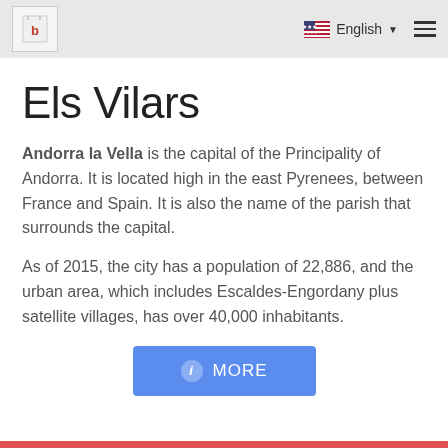English
Els Vilars
Andorra la Vella is the capital of the Principality of Andorra. It is located high in the east Pyrenees, between France and Spain. It is also the name of the parish that surrounds the capital.
As of 2015, the city has a population of 22,886, and the urban area, which includes Escaldes-Engordany plus satellite villages, has over 40,000 inhabitants.
MORE